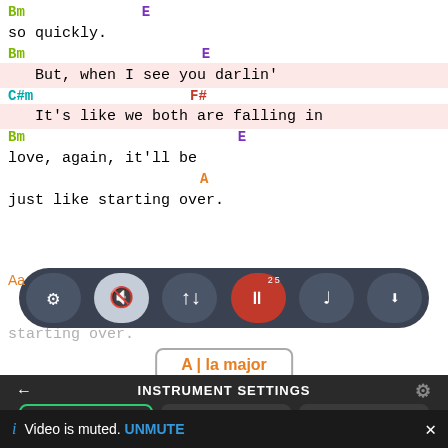Bm   E
so quickly.
Bm         E
But, when I see you darlin'
C#m              F#
It's like we both are falling in
Bm                    E
love, again, it'll be
A
just like starting over.
[Figure (screenshot): Media player toolbar with controls: settings sliders, muted speaker, transpose arrows, pause button with 25 badge, music note, scroll button]
starting over.
A | la major
INSTRUMENT SETTINGS
GUITAR   PIANO   UKULELE
Video is muted. UNMUTE